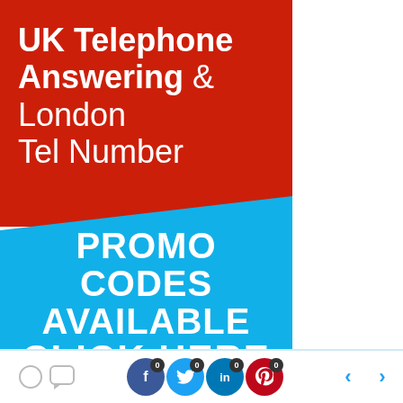[Figure (infographic): Promotional banner with red photo background overlay at top showing 'UK Telephone Answering & London Tel Number' in white bold text, and a blue diagonal section below reading 'PROMO CODES AVAILABLE CLICK HERE']
0  (speech bubble icons)
[Figure (infographic): Social share buttons: Facebook (0), Twitter (0), LinkedIn (0), Pinterest (0) with badge counts, and navigation arrows left/right]